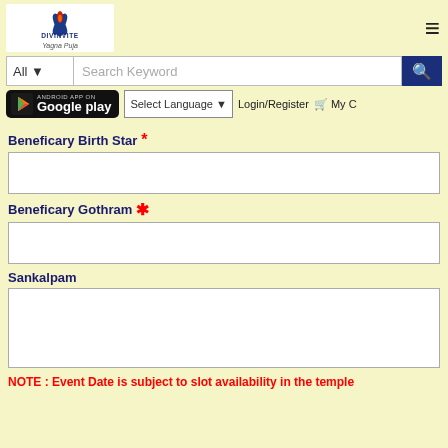Divinvite Yagna Puja - header with logo, search bar, Google Play button, Select Language, Login/Register, My Cart
Beneficary Birth Star *
Beneficary Gothram *
Sankalpam
NOTE : Event Date is subject to slot availability in the temple